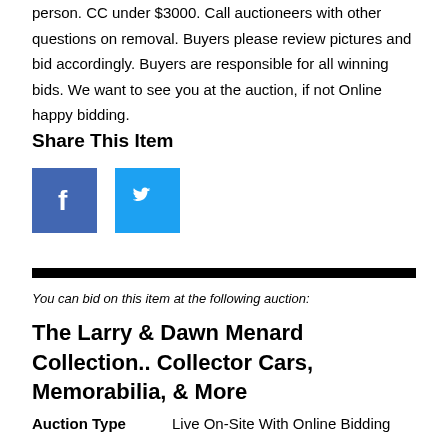person. CC under $3000. Call auctioneers with other questions on removal. Buyers please review pictures and bid accordingly. Buyers are responsible for all winning bids. We want to see you at the auction, if not Online happy bidding.
Share This Item
[Figure (illustration): Facebook and Twitter social media share buttons side by side]
You can bid on this item at the following auction:
The Larry & Dawn Menard Collection.. Collector Cars, Memorabilia, & More
Auction Type   Live On-Site With Online Bidding